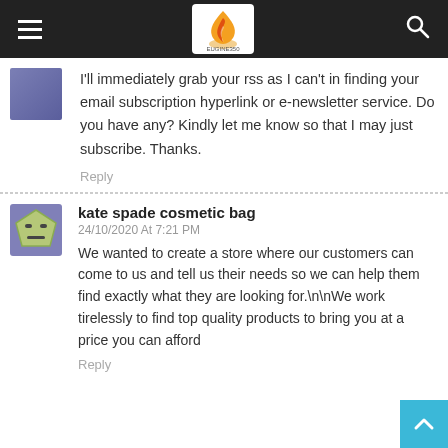EUGINE350
I'll immediately grab your rss as I can't in finding your email subscription hyperlink or e-newsletter service. Do you have any? Kindly let me know so that I may just subscribe. Thanks.
Reply
[Figure (illustration): Avatar icon of a green pentagon-shaped robot face with closed/squinting eyes and a grimace, on a purple background]
kate spade cosmetic bag
24/10/2020 At 7:21 PM
We wanted to create a store where our customers can come to us and tell us their needs so we can help them find exactly what they are looking for.\n\nWe work tirelessly to find top quality products to bring you at a price you can afford
Reply